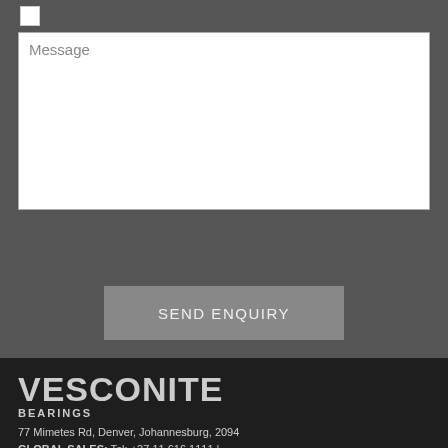[Figure (screenshot): Web form section with a checkbox, a message textarea input field with placeholder text 'Message', and a dark gray background]
SEND ENQUIRY
VESCONITE
BEARINGS
77 Mimetes Rd, Denver, Johannesburg, 2094
GLOBAL SALES: Tel: +27 11 616 1111 | vesconite@vesconite.com